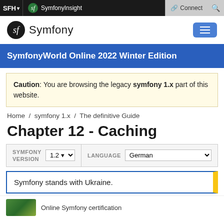SFH ▾  sf SymfonyInsight   Connect  🔍
sf Symfony [menu button]
SymfonyWorld Online 2022 Winter Edition
Caution: You are browsing the legacy symfony 1.x part of this website.
Home / symfony 1.x / The definitive Guide
Chapter 12 - Caching
SYMFONY VERSION 1.2 ▾  LANGUAGE German ▾
Symfony stands with Ukraine.
Online Symfony certification